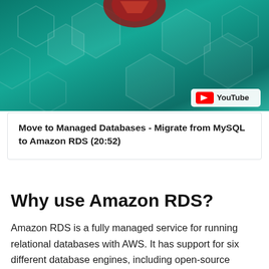[Figure (screenshot): YouTube video thumbnail showing AWS/Amazon RDS promotional content with teal hexagonal background pattern and an Amazon RDS logo element at the top center. YouTube logo badge in bottom right corner.]
Move to Managed Databases - Migrate from MySQL to Amazon RDS (20:52)
Why use Amazon RDS?
Amazon RDS is a fully managed service for running relational databases with AWS. It has support for six different database engines, including open-source options such as MySQL, PostgreSQL, and MariaDB.

With Amazon RDS, your database operations are managed by AWS, leaving your team free to focus on